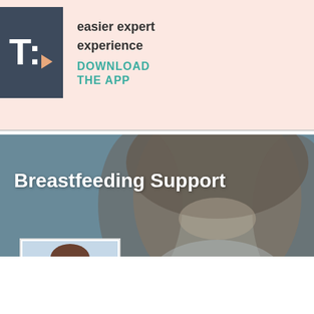[Figure (logo): App logo with dark blue background showing T and B letters with orange play triangle]
easier expert
experience
DOWNLOAD
THE APP
[Figure (photo): Hero image of smiling woman with brown hair on blueish-grey background with overlay text Breastfeeding Support]
Breastfeeding Support
[Figure (photo): Small profile photo of Dana C., a woman with brown hair smiling, on light blue background]
DANA C.
Lactation Consultant
★ ★ ★ ★ ★